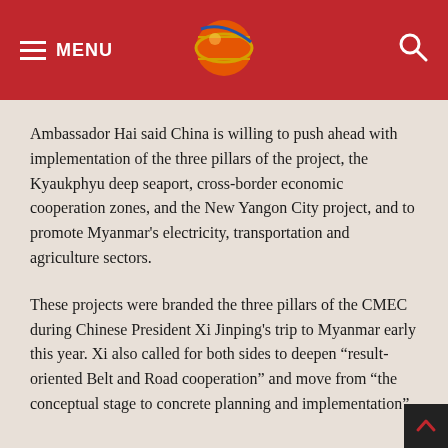MENU [logo] [search]
Ambassador Hai said China is willing to push ahead with implementation of the three pillars of the project, the Kyaukphyu deep seaport, cross-border economic cooperation zones, and the New Yangon City project, and to promote Myanmar's electricity, transportation and agriculture sectors.
These projects were branded the three pillars of the CMEC during Chinese President Xi Jinping's trip to Myanmar early this year. Xi also called for both sides to deepen "result-oriented Belt and Road cooperation" and move from "the conceptual stage to concrete planning and implementation".